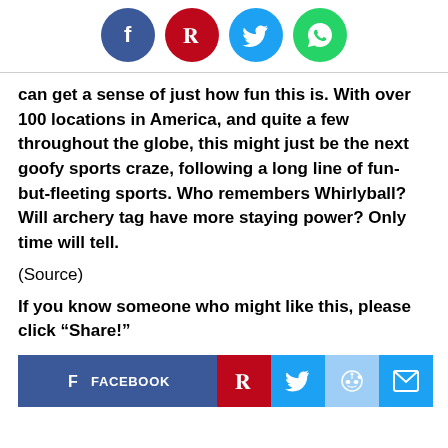[Figure (other): Four social media share icons in circles: Facebook (blue), Pinterest (red), Twitter (blue), WhatsApp (green)]
can get a sense of just how fun this is. With over 100 locations in America, and quite a few throughout the globe, this might just be the next goofy sports craze, following a long line of fun-but-fleeting sports. Who remembers Whirlyball? Will archery tag have more staying power? Only time will tell.
(Source)
If you know someone who might like this, please click “Share!”
[Figure (other): Share button bar with Facebook, Pinterest, Twitter, Reddit, and Email buttons]